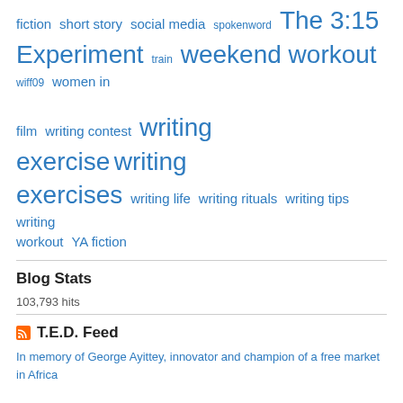fiction  short story  social media  spokenword  The 3:15 Experiment  train  weekend workout  wiff09  women in film  writing contest  writing exercise  writing exercises  writing life  writing rituals  writing tips  writing workout  YA fiction
Blog Stats
103,793 hits
T.E.D. Feed
In memory of George Ayittey, innovator and champion of a free market in Africa